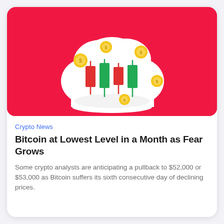[Figure (illustration): 3D illustration of a white cloud thought bubble containing red and green candlestick chart candles, surrounded by gold coins, on a bright red/crimson background]
Crypto News
Bitcoin at Lowest Level in a Month as Fear Grows
Some crypto analysts are anticipating a pullback to $52,000 or $53,000 as Bitcoin suffers its sixth consecutive day of declining prices.